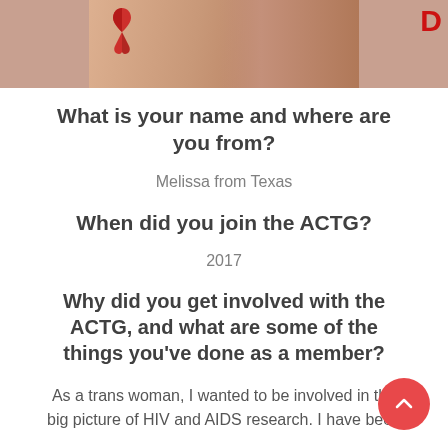[Figure (photo): Partial photo showing a person with a red ribbon (HIV/AIDS awareness) and partial text 'D' visible in red on the right side]
What is your name and where are you from?
Melissa from Texas
When did you join the ACTG?
2017
Why did you get involved with the ACTG, and what are some of the things you've done as a member?
As a trans woman, I wanted to be involved in the big picture of HIV and AIDS research. I have been